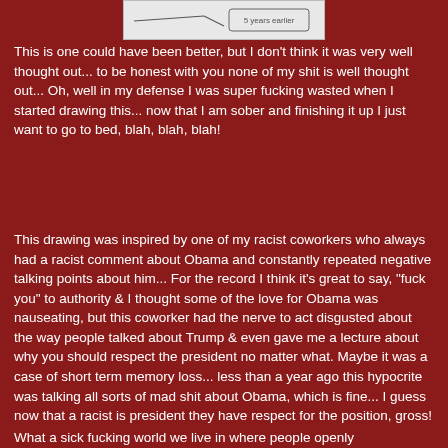[Figure (illustration): Partial illustration/sketch visible at the top of the page, white background with pencil/ink drawing]
This is one could have been better, but I don't think it was very well thought out... to be honest with you none of my shit is well thought out... Oh, well in my defense I was super fucking wasted when I started drawing this... now that I am sober and finishing it up I just want to go to bed, blah, blah, blah!
This drawing was inspired by one of my racist coworkers who always had a racist comment about Obama and constantly repeated negative talking points about him... For the record I think it's great to say, "fuck you" to authority & I thought some of the love for Obama was nauseating, but this coworker had the nerve to act disgusted about the way people talked about Trump & even gave me a lecture about why you should respect the president no matter what. Maybe it was a case of short term memory loss... less than a year ago this hypocrite was talking all sorts of mad shit about Obama, which is fine... I guess now that a racist is president they have respect for the position, gross!
What a sick fucking world we live in where people openly